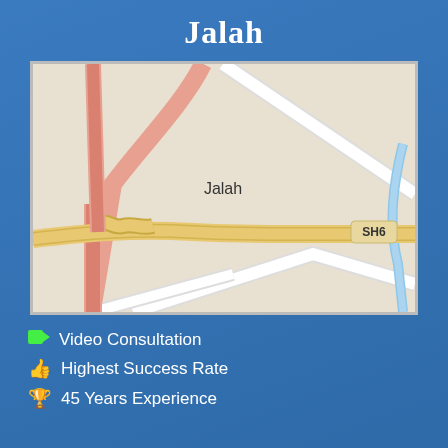Jalah
[Figure (map): Street map of Jalah area showing roads including SH6 highway, with pink/red roads, yellow/orange roads, and white roads on a beige background. The label 'Jalah' appears in the center of the map.]
Video Consultation
Highest Success Rate
45 Years Experience